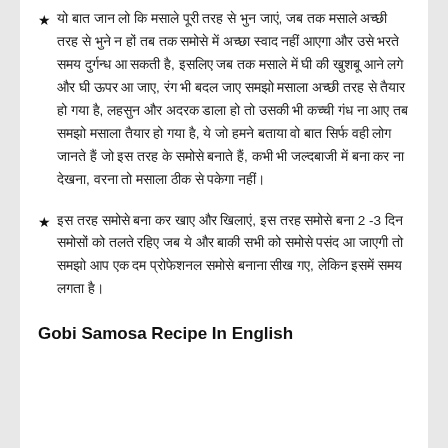★ यो बात जान लो कि मसाले पूरी तरह से भुन जाएं, जब तक मसाले अच्छी तरह से भुने न हों तब तक समोसे में अच्छा स्वाद नहीं आएगा और उसे भरते समय दुर्गन्ध आ सकती है, इसलिए जब तक मसाले में घी की खुशबू आने लगे और घी ऊपर आ जाए, रंग भी बदल जाए समझो मसाला अच्छी तरह से तैयार हो गया है, लहसुन और अदरक डाला हो तो उसकी भी कच्ची गंध ना आए तब समझो मसाला तैयार हो गया है, ये जो हमने बताया वो बात सिर्फ वही लोग जानते हैं जो इस तरह के समोसे बनाते हैं, कभी भी जल्दबाजी में बना कर ना देखना, वरना तो मसाला ठीक से पकेगा नहीं।
★ इस तरह समोसे बना कर खाए और खिलाएं, इस तरह समोसे बना 2 -3 दिन समोसों को तलते रहिए जब ये और बाकी सभी को समोसे पसंद आ जाएगी तो समझो आप एक दम प्रोफेशनल समोसे बनाना सीख गए, लेकिन इसमें समय लगता है।
Gobi Samosa Recipe In English